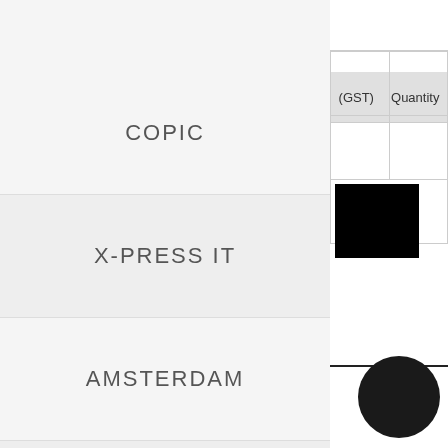back
| (GST) | Quantity |
| --- | --- |
|  |  |
|  |  |
|  |  |
|  |  |
COPIC
X-PRESS IT
AMSTERDAM
ECOLINE
MABEF
TALENS ART CREATION
SAKURA
GELLY ROLL